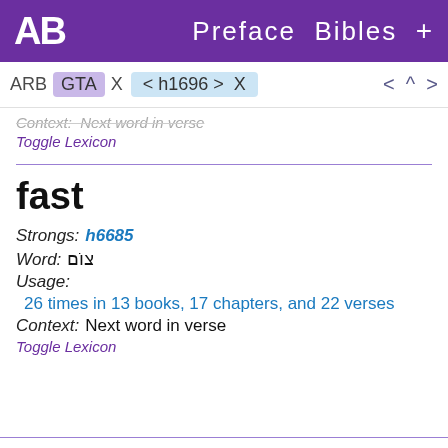AB  Preface  Bibles  +
ARB  GTA  X   < h1696 >  X    <  ^  >
Context:   Next word in verse
Toggle Lexicon
fast
Strongs:   h6685
Word:   צוֹם
Usage:
26 times in 13 books, 17 chapters, and 22 verses
Context:   Next word in verse
Toggle Lexicon